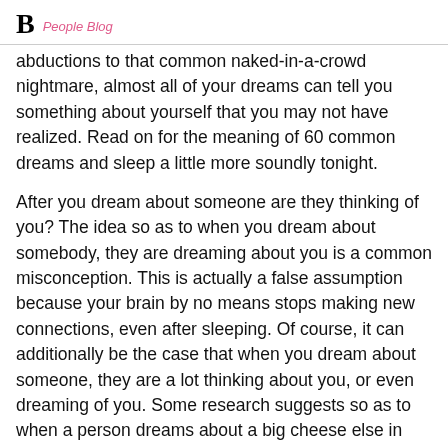B People Blog
abductions to that common naked-in-a-crowd nightmare, almost all of your dreams can tell you something about yourself that you may not have realized. Read on for the meaning of 60 common dreams and sleep a little more soundly tonight.
After you dream about someone are they thinking of you? The idea so as to when you dream about somebody, they are dreaming about you is a common misconception. This is actually a false assumption because your brain by no means stops making new connections, even after sleeping. Of course, it can additionally be the case that when you dream about someone, they are a lot thinking about you, or even dreaming of you. Some research suggests so as to when a person dreams about a big cheese else in their sleep, they are actually dreaming about themselves. Dreams are basically reflections of what someone has been doing or